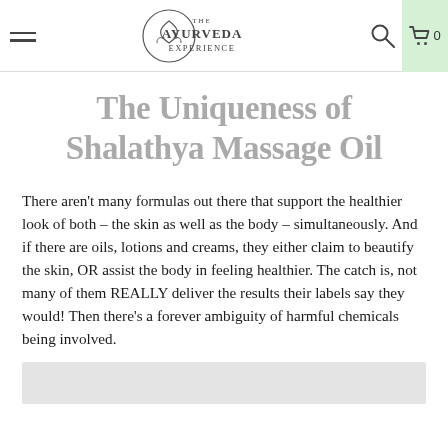The Ayurveda Experience
The Uniqueness of Shalathya Massage Oil
There aren’t many formulas out there that support the healthier look of both – the skin as well as the body – simultaneously. And if there are oils, lotions and creams, they either claim to beautify the skin, OR assist the body in feeling healthier. The catch is, not many of them REALLY deliver the results their labels say they would! Then there’s a forever ambiguity of harmful chemicals being involved.
[Figure (photo): Partial view of a product/scene image at the bottom of the page, mostly light grey]